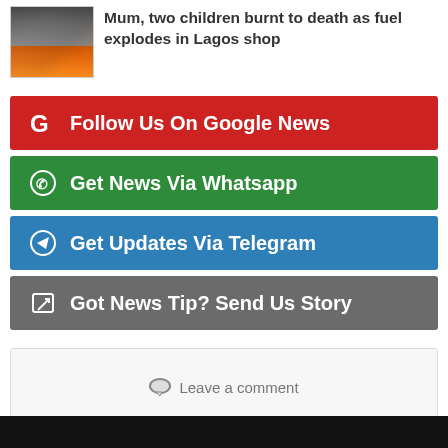[Figure (photo): Thumbnail image of fire and smoke from a burning building]
Mum, two children burnt to death as fuel explodes in Lagos shop
[Figure (infographic): Red button: Follow Us On Google News]
[Figure (infographic): Green button: Get News Via Whatsapp]
[Figure (infographic): Blue button: Get Updates Via Telegram]
[Figure (infographic): Gray button: Got News Tip? Send Us Story]
Leave a comment